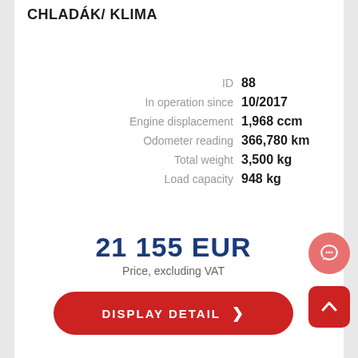CHLADÁK/ KLIMA
| Label | Value |
| --- | --- |
| ID | 88 |
| In operation since | 10/2017 |
| Engine displacement | 1,968 ccm |
| Odometer reading | 366,780 km |
| Total weight | 3,500 kg |
| Load capacity | 948 kg |
21 155 EUR
Price, excluding VAT
DISPLAY DETAIL